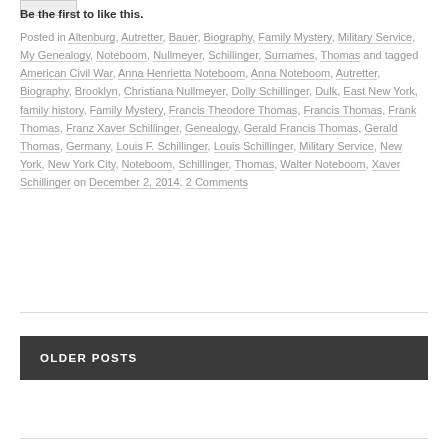Be the first to like this.
Posted in Altenburg, Autretter, Bauer, Biography, Family Mystery, Military Service, My Genealogy, Noteboom, Nullmeyer, Schillinger, Surnames, Thomas and tagged American Civil War, Anna Henrietta Noteboom, Anna Noteboom, Autretter, Biography, Brooklyn, Christiana Nullmeyer, Dolly Schillinger, Dulk, East New York, family history, Family Mystery, Francis Theodore Thomas, Francis Thomas, Frank Thomas, Franz Xaver Schillinger, Genealogy, Gerald Francis Thomas, Gerald Thomas, Germany, Louis F. Schillinger, Louis Schillinger, Military Service, New York, New York City, Noteboom, Schillinger, Thomas, Walter Noteboom, Xaver Schillinger on December 2, 2014. 2 Comments
OLDER POSTS